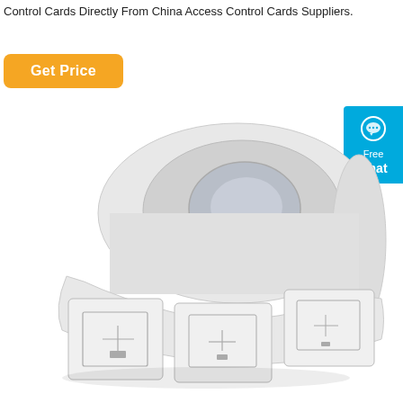Control Cards Directly From China Access Control Cards Suppliers.
[Figure (photo): Orange 'Get Price' button with rounded corners]
[Figure (other): Blue 'Free Chat' widget with chat bubble icon, positioned on the right side]
[Figure (photo): A roll of RFID/NFC sticker labels on a tape roll, white labels with antenna coil patterns visible on the unrolled portion at the bottom]